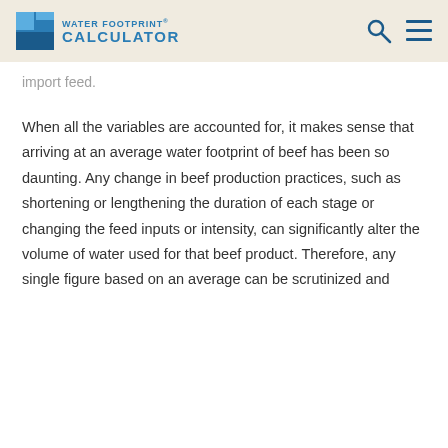Water Footprint Calculator
import feed.
When all the variables are accounted for, it makes sense that arriving at an average water footprint of beef has been so daunting. Any change in beef production practices, such as shortening or lengthening the duration of each stage or changing the feed inputs or intensity, can significantly alter the volume of water used for that beef product. Therefore, any single figure based on an average can be scrutinized and